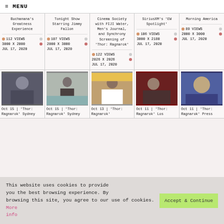≡ MENU
Buchanana's Greatness Experience | 112 VIEWS | 3000 X 2000 | JUL 17, 2020
Tonight Show Starring Jimmy Fallon | 107 VIEWS | 2000 X 3000 | JUL 17, 2020
Cinema Society with FIJI Water, Men's Journal, and Synchrony Screening of 'Thor: Ragnarok' | 122 VIEWS | 2026 X 2026 | JUL 17, 2020
SiriusXM's 'EW Spotlight' | 106 VIEWS | 3000 X 2180 | JUL 17, 2020
Morning America | 89 VIEWS | 2000 X 3000 | JUL 17, 2020
[Figure (photo): Person photo thumbnail 1]
Oct 15 | 'Thor: Ragnarok' Sydney
[Figure (photo): Person photo thumbnail 2]
Oct 15 | 'Thor: Ragnarok' Sydney
[Figure (photo): Person photo thumbnail 3]
Oct 13 | 'Thor: Ragnarok'
[Figure (photo): Person photo thumbnail 4]
Oct 11 | 'Thor: Ragnarok' Los
[Figure (photo): Person photo thumbnail 5]
Oct 11 | 'Thor: Ragnarok' Press
This website uses cookies to provide you the best browsing experience. By browsing this site, you agree to our use of cookies. More info